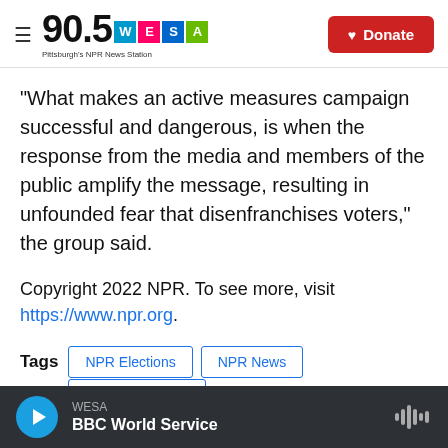90.5 WESA Pittsburgh's NPR News Station | Donate
"What makes an active measures campaign successful and dangerous, is when the response from the media and members of the public amplify the message, resulting in unfounded fear that disenfranchises voters," the group said.
Copyright 2022 NPR. To see more, visit https://www.npr.org.
Tags  NPR Elections  NPR News  NPR Top Stories
WESA BBC World Service